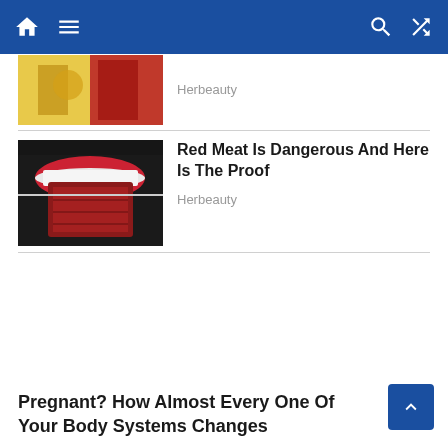Navigation bar with home, menu, search, and shuffle icons
[Figure (photo): Partial thumbnail showing colorful fashion/lifestyle image (yellow and red tones)]
Herbeauty
[Figure (photo): Close-up of red lips biting into a piece of red meat held by a fork]
Red Meat Is Dangerous And Here Is The Proof
Herbeauty
Pregnant? How Almost Every One Of Your Body Systems Changes